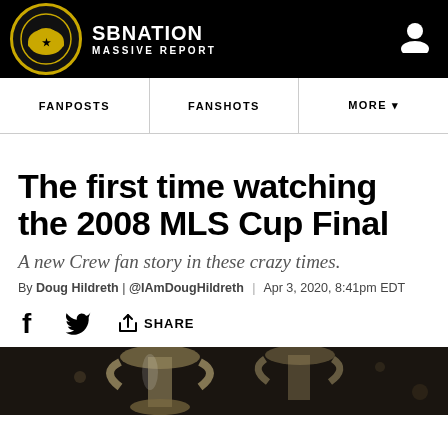SB NATION MASSIVE REPORT
FANPOSTS | FANSHOTS | MORE
The first time watching the 2008 MLS Cup Final
A new Crew fan story in these crazy times.
By Doug Hildreth | @IAmDougHildreth | Apr 3, 2020, 8:41pm EDT
[Figure (screenshot): MLS Cup trophy photo at the bottom of the page]